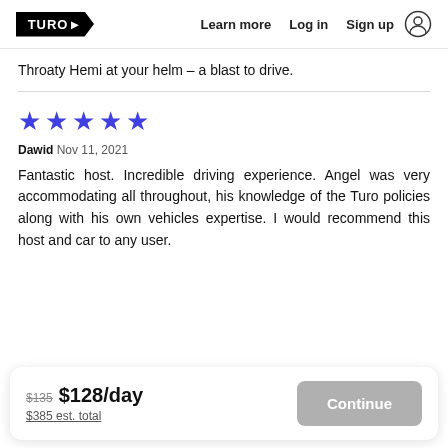TURO | Learn more | Log in | Sign up
Throaty Hemi at your helm – a blast to drive.
[Figure (other): Five filled blue/purple stars rating]
Dawid Nov 11, 2021
Fantastic host. Incredible driving experience. Angel was very accommodating all throughout, his knowledge of the Turo policies along with his own vehicles expertise. I would recommend this host and car to any user.
$135 $128/day $385 est. total Continue